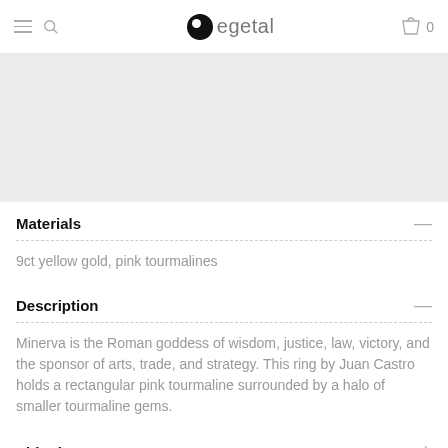egetal
[Figure (photo): Gray placeholder image area for product photo]
Materials
9ct yellow gold, pink tourmalines
Description
Minerva is the Roman goddess of wisdom, justice, law, victory, and the sponsor of arts, trade, and strategy. This ring by Juan Castro holds a rectangular pink tourmaline surrounded by a halo of smaller tourmaline gems.
Shipping
Returns